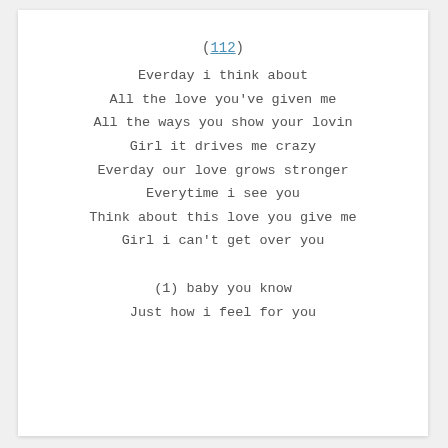( 112 )
Everday i think about
All the love you've given me
All the ways you show your lovin
Girl it drives me crazy
Everday our love grows stronger
Everytime i see you
Think about this love you give me
Girl i can't get over you
(1) baby you know
Just how i feel for you